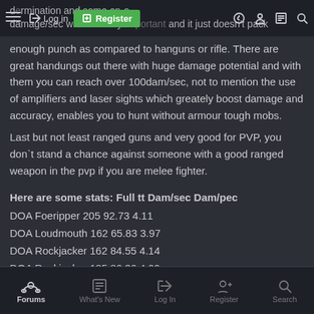≡  Log in  Register (icons)
enough punch as compared to hanguns or rifle. There are great handungs out there with huge damage potential and with them you can reach over 100dam/sec, not to mention the use of amplifiers and laser sights which greately boost damage and accuracy, enables you to hunt without armour tough mobs.
Last but not least ranged guns and very good for PVP, you don`t stand a chance against someone with a good ranged weapon in the pvp if you are melee fighter.
Here are some stats: Full tt Dam/sec Dam/pec
DOA Foeripper 205 92.73 4.11
DOA Loudmouth 162 65.83 3.97
DOA Rockjacker 162 84.55 4.14
DOA Rockjacker 185 86.36 4.09
Forums  What's New  Log In  Register  Search